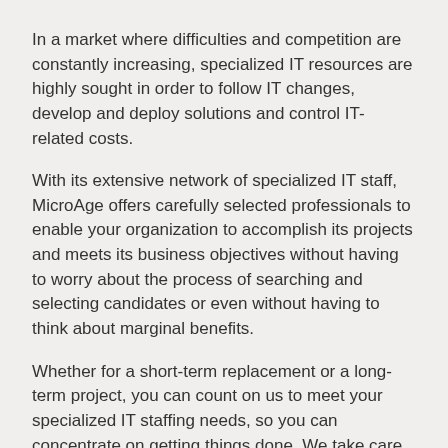In a market where difficulties and competition are constantly increasing, specialized IT resources are highly sought in order to follow IT changes, develop and deploy solutions and control IT-related costs.
With its extensive network of specialized IT staff, MicroAge offers carefully selected professionals to enable your organization to accomplish its projects and meets its business objectives without having to worry about the process of searching and selecting candidates or even without having to think about marginal benefits.
Whether for a short-term replacement or a long-term project, you can count on us to meet your specialized IT staffing needs, so you can concentrate on getting things done. We take care of :
Pre-selecting candidates
Verification of history and expertise
Validation of costs and budgets allocated